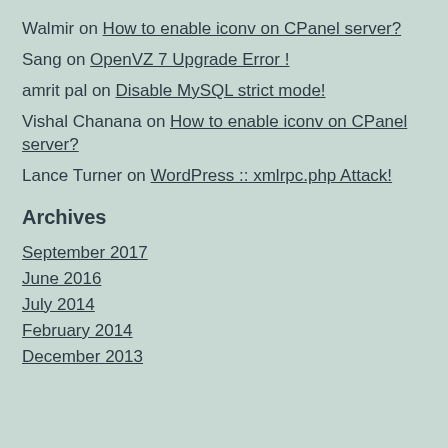Walmir on How to enable iconv on CPanel server?
Sang on OpenVZ 7 Upgrade Error !
amrit pal on Disable MySQL strict mode!
Vishal Chanana on How to enable iconv on CPanel server?
Lance Turner on WordPress :: xmlrpc.php Attack!
Archives
September 2017
June 2016
July 2014
February 2014
December 2013